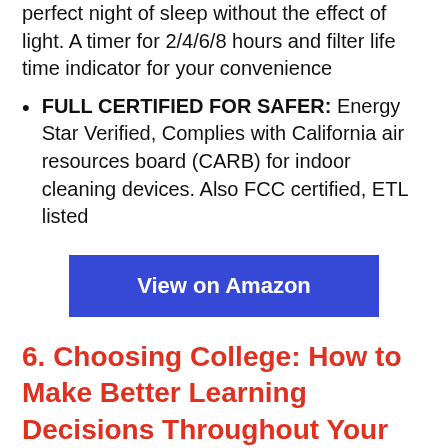perfect night of sleep without the effect of light. A timer for 2/4/6/8 hours and filter life time indicator for your convenience
FULL CERTIFIED FOR SAFER: Energy Star Verified, Complies with California air resources board (CARB) for indoor cleaning devices. Also FCC certified, ETL listed
[Figure (other): Blue 'View on Amazon' button]
6. Choosing College: How to Make Better Learning Decisions Throughout Your Life
[Figure (other): Partial image/thumbnail at bottom of page]